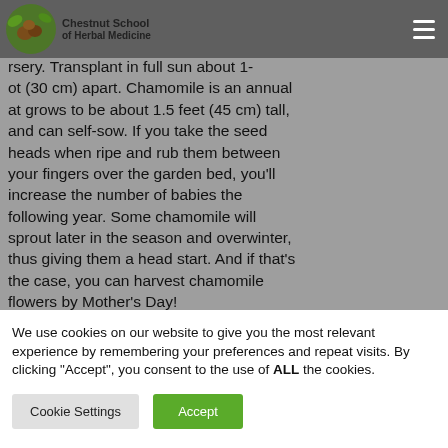Chestnut School of Herbal Medicine
nursery. Transplant in full sun about 1-foot (30 cm) apart. Chamomile is an annual that grows to be about 1.5 feet (45 cm) tall, and can self-sow. If you take the seed heads when ripe and rub them between your fingers over the garden bed, you'll increase the number of babies the following year. Some chamomile will sprout later in the season and overwinter, thus giving them a head start. And if that's the case, you can harvest chamomile flowers by Mother's Day!
We use cookies on our website to give you the most relevant experience by remembering your preferences and repeat visits. By clicking “Accept”, you consent to the use of ALL the cookies.